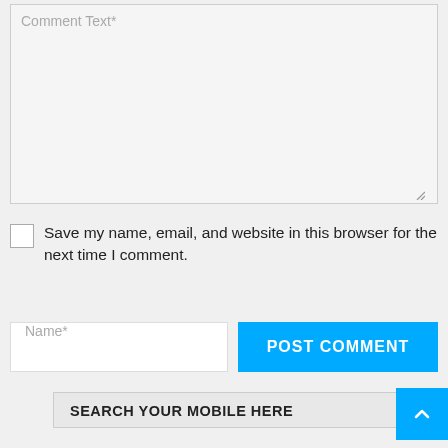[Figure (screenshot): Comment text textarea input field with light gray background, showing placeholder text 'Comment Text*' and a resize handle at bottom right]
Save my name, email, and website in this browser for the next time I comment.
[Figure (screenshot): Name input field with placeholder 'Name*' on the left, and a bright blue 'POST COMMENT' button on the right]
SEARCH YOUR MOBILE HERE